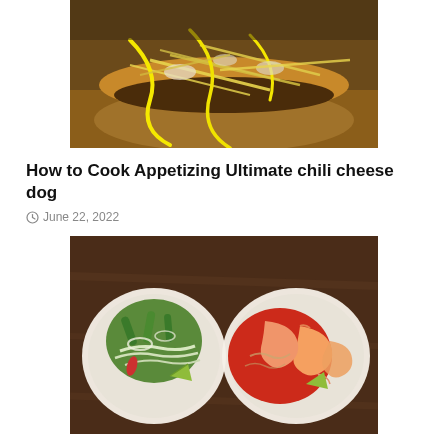[Figure (photo): Close-up photo of a chili cheese dog with shredded cheese and yellow mustard drizzled on top]
How to Cook Appetizing Ultimate chili cheese dog
June 22, 2022
[Figure (photo): Two bowls of food: left bowl contains a salad with green vegetables, jalapeños, onions, and lime; right bowl contains shrimp with red sauce and lime]
Easiest Way to Prepare Perfect